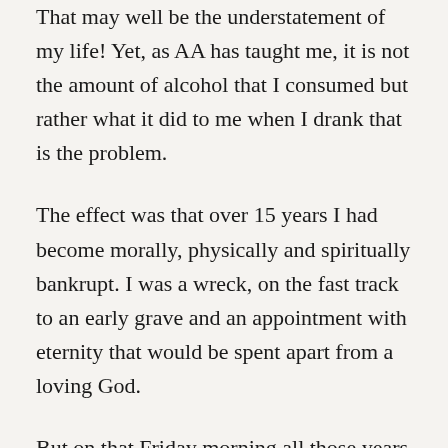That may well be the understatement of my life! Yet, as AA has taught me, it is not the amount of alcohol that I consumed but rather what it did to me when I drank that is the problem.
The effect was that over 15 years I had become morally, physically and spiritually bankrupt. I was a wreck, on the fast track to an early grave and an appointment with eternity that would be spent apart from a loving God.
But on that Friday morning all those years ago, all I was aware of was how awful I felt physically. As bad as the stomach pain and shakes were, nothing compares with the devastation I felt as my Dad,